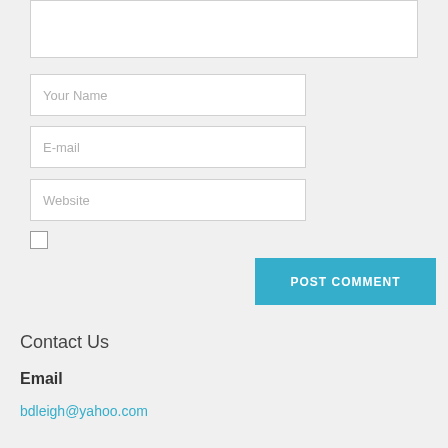[Figure (screenshot): Comment form with text area (partially visible at top), three input fields (Your Name, E-mail, Website), a checkbox, and a blue POST COMMENT button]
Contact Us
Email
bdleigh@yahoo.com